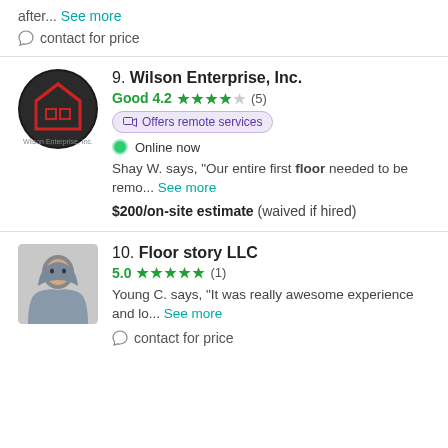after... See more
contact for price
9. Wilson Enterprise, Inc.
Good 4.2 ★★★★☆ (5)
Offers remote services
Online now
Shay W. says, "Our entire first floor needed to be remo... See more
$200/on-site estimate (waived if hired)
10. Floor story LLC
5.0 ★★★★★ (1)
Young C. says, "It was really awesome experience and lo... See more
contact for price